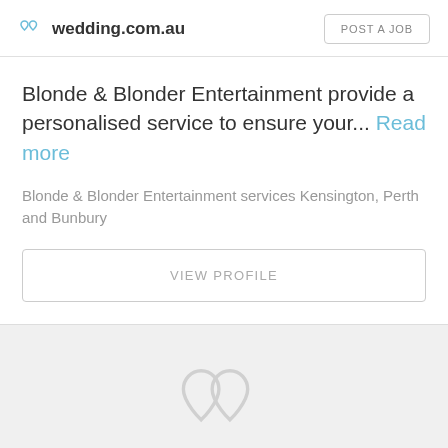wedding.com.au  POST A JOB
Blonde & Blonder Entertainment provide a personalised service to ensure your... Read more
Blonde & Blonder Entertainment services Kensington, Perth and Bunbury
VIEW PROFILE
[Figure (logo): Large faint double-heart logo of wedding.com.au on gray background]